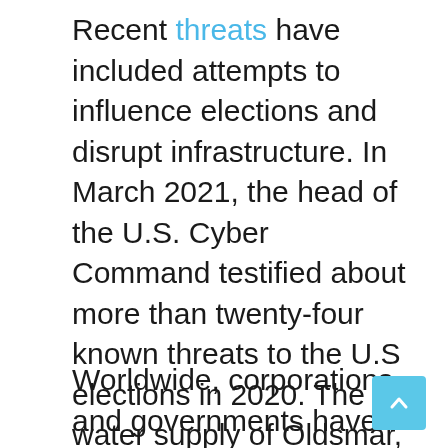Recent threats have included attempts to influence elections and disrupt infrastructure. In March 2021, the head of the U.S. Cyber Command testified about more than twenty-four known threats to the U.S elections in 2020. The water supply of Oldsmar, Florida, was targeted in February 2021. Hackers breached a remote access system and attempted to poison the city water supply.
Worldwide, corporations and governments have steadily increased